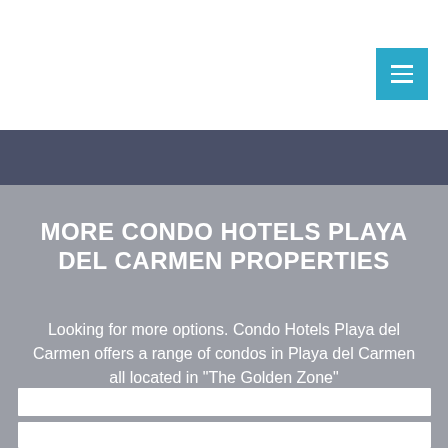[Figure (other): Navigation menu button — teal/cyan square with three horizontal white lines (hamburger icon)]
MORE CONDO HOTELS PLAYA DEL CARMEN PROPERTIES
Looking for more options. Condo Hotels Playa del Carmen offers a range of condos in Playa del Carmen all located in "The Golden Zone"